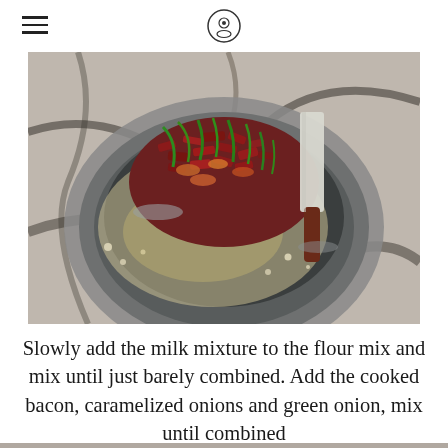[Figure (photo): Overhead view of a stainless steel mixing bowl on a granite countertop, containing cooked bacon pieces, caramelized onions, and chopped green onions, with a white spatula and flour dusting visible]
Slowly add the milk mixture to the flour mix and mix until just barely combined. Add the cooked bacon, caramelized onions and green onion, mix until combined